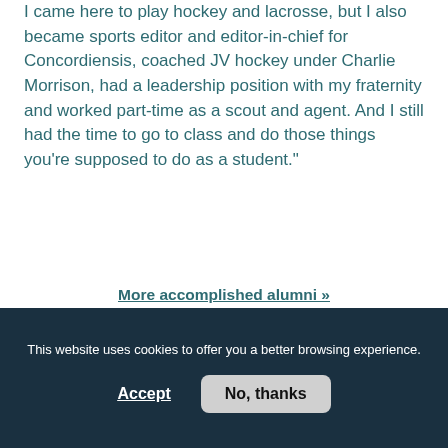I came here to play hockey and lacrosse, but I also became sports editor and editor-in-chief for Concordiensis, coached JV hockey under Charlie Morrison, had a leadership position with my fraternity and worked part-time as a scout and agent. And I still had the time to go to class and do those things you're supposed to do as a student.”
More accomplished alumni »
UNION COLLEGE MAGAZINE
Homepage | Special features
Union College, Fall 2015 issue
This website uses cookies to offer you a better browsing experience.
Accept
No, thanks